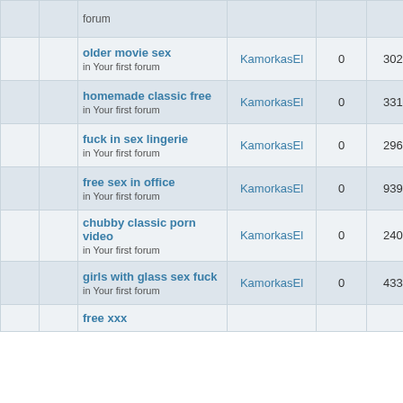|  |  | Topic | Author | Replies | Views | Last Post |
| --- | --- | --- | --- | --- | --- | --- |
|  |  | older movie sex
in Your first forum | KamorkasEl | 0 | 3029 | 16 May 2018 06:51
KamorkasEl |
|  |  | homemade classic free
in Your first forum | KamorkasEl | 0 | 3317 | 16 May 2018 06:03
KamorkasEl |
|  |  | fuck in sex lingerie
in Your first forum | KamorkasEl | 0 | 2967 | 16 May 2018 05:19
KamorkasEl |
|  |  | free sex in office
in Your first forum | KamorkasEl | 0 | 9390 | 16 May 2018 04:33
KamorkasEl |
|  |  | chubby classic porn video
in Your first forum | KamorkasEl | 0 | 2400 | 16 May 2018 03:45
KamorkasEl |
|  |  | girls with glass sex fuck
in Your first forum | KamorkasEl | 0 | 4336 | 16 May 2018 03:00
KamorkasEl |
|  |  | free xxx
... | KamorkasEl |  |  | 16 May 2018... |